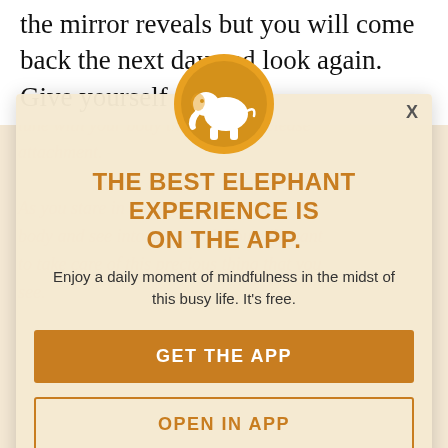the mirror reveals but you will come back the next day and look again. Give yourself a
little funny face from time to time and #lightcnlp.

This self-exploration will allow you to be so in tune with your body that you can release attachment.

As you stare in these eyes, see your body and see into your soul. You will want to take care of this precious thing that you see.
[Figure (logo): Elephant Journal app icon: golden yellow circle with white elephant silhouette]
THE BEST ELEPHANT EXPERIENCE IS ON THE APP.
Enjoy a daily moment of mindfulness in the midst of this busy life. It's free.
GET THE APP
OPEN IN APP